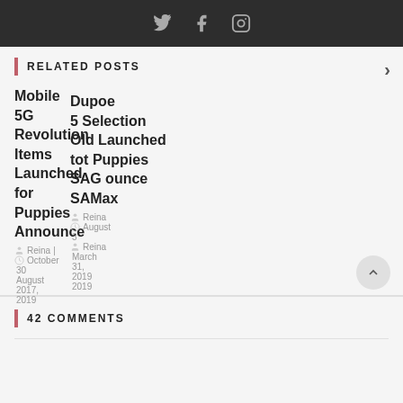Social media icons: Twitter, Facebook, Instagram
RELATED POSTS
Mobile 5G Revolution Items Launched for Puppies SAM Announce SAMax
Reina | August 3, October 30, August 2017, 2019, 2019
Max | Reina | March 31, 2019
42 COMMENTS